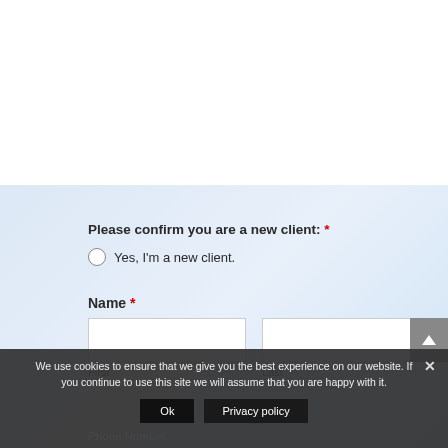Please confirm you are a new client: *
Yes, I'm a new client.
Name *
First
Last
We use cookies to ensure that we give you the best experience on our website. If you continue to use this site we will assume that you are happy with it.
Ok
Privacy policy
Phone Number